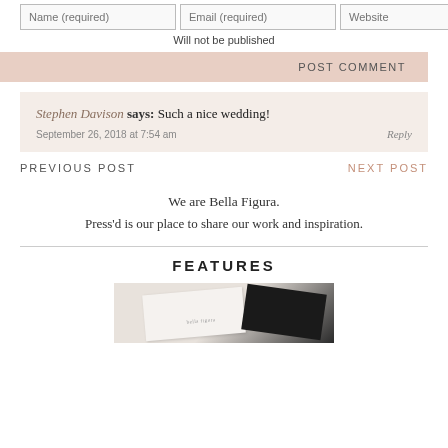Name (required) | Email (required) | Website
Will not be published
POST COMMENT
Stephen Davison says: Such a nice wedding!
September 26, 2018 at 7:54 am
Reply
PREVIOUS POST
NEXT POST
We are Bella Figura.
Press'd is our place to share our work and inspiration.
FEATURES
[Figure (photo): Stationery cards photo showing white cards and dark cards arranged together]